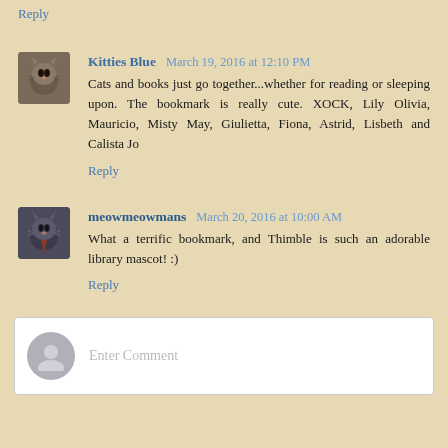Reply
Kitties Blue  March 19, 2016 at 12:10 PM
Cats and books just go together...whether for reading or sleeping upon. The bookmark is really cute. XOCK, Lily Olivia, Mauricio, Misty May, Giulietta, Fiona, Astrid, Lisbeth and Calista Jo
Reply
meowmeowmans  March 20, 2016 at 10:00 AM
What a terrific bookmark, and Thimble is such an adorable library mascot! :)
Reply
Enter Comment